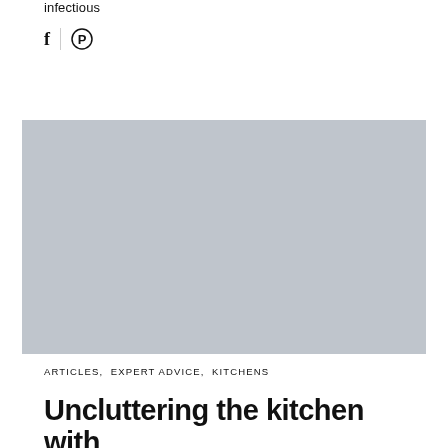infectious
[Figure (illustration): Social media share icons: Facebook (f) and Pinterest (circle with P). Separated by a vertical divider line.]
[Figure (photo): Large rectangular image placeholder with light blue-grey background color.]
ARTICLES,  EXPERT ADVICE,  KITCHENS
Uncluttering the kitchen with